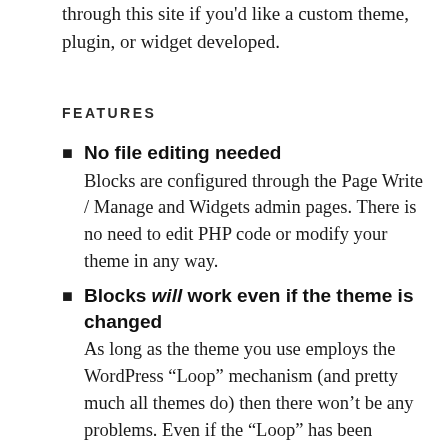through this site if you'd like a custom theme, plugin, or widget developed.
FEATURES
No file editing needed
Blocks are configured through the Page Write / Manage and Widgets admin pages. There is no need to edit PHP code or modify your theme in any way.
Blocks will work even if the theme is changed
As long as the theme you use employs the WordPress “Loop” mechanism (and pretty much all themes do) then there won’t be any problems. Even if the “Loop” has been modified.
Each page can be configured with a different set of page blocks
There are four blocks that can be enabled for each page – Top Left, Top Right, Bottom Left, and